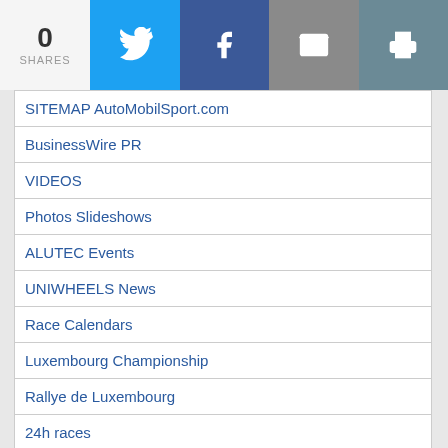0 SHARES
SITEMAP AutoMobilSport.com
BusinessWire PR
VIDEOS
Photos Slideshows
ALUTEC Events
UNIWHEELS News
Race Calendars
Luxembourg Championship
Rallye de Luxembourg
24h races
ADAC Formel 4
ADAC GT Masters
American Series
Alpine Europa Cup
ATS Formel 3 Cup
Belgium Motorsport
BOSS GP